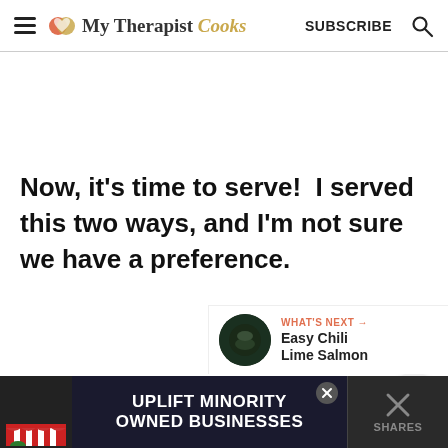My Therapist Cooks — SUBSCRIBE
Now, it's time to serve!  I served this two ways, and I'm not sure we have a preference.
WHAT'S NEXT → Easy Chili Lime Salmon
[Figure (infographic): Advertisement banner: UPLIFT MINORITY OWNED BUSINESSES with store illustration]